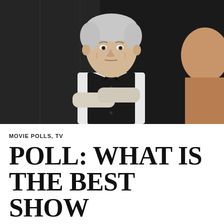[Figure (photo): A silver-haired older man in a black vest and white dress shirt stands with arms crossed, looking seriously at someone facing away from the camera. The setting appears to be a dimly lit interior scene.]
MOVIE POLLS, TV
POLL: WHAT IS THE BEST SHOW ON TV? 5TH